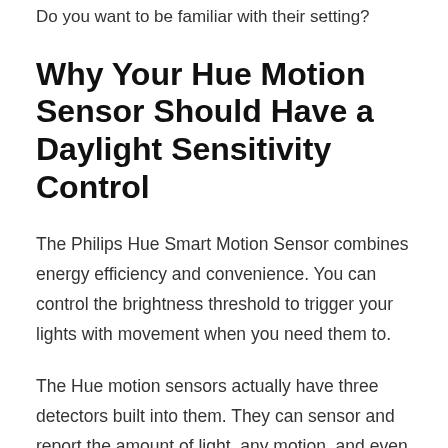Do you want to be familiar with their setting?
Why Your Hue Motion Sensor Should Have a Daylight Sensitivity Control
The Philips Hue Smart Motion Sensor combines energy efficiency and convenience. You can control the brightness threshold to trigger your lights with movement when you need them to.
The Hue motion sensors actually have three detectors built into them. They can sensor and report the amount of light, any motion, and even the temperature, which is the biggest advantage to prevent misfiring.